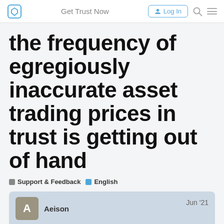Get Trust Now  Log In
the frequency of egregiously inaccurate asset trading prices in trust is getting out of hand
Support & Feedback   English
Aeison   Jun '21
as of tight now, i have virtually nothing ($2) left in one asset, that trust is now telling me is valued at almost 3k. $300 in another asset trust is telling me is w...